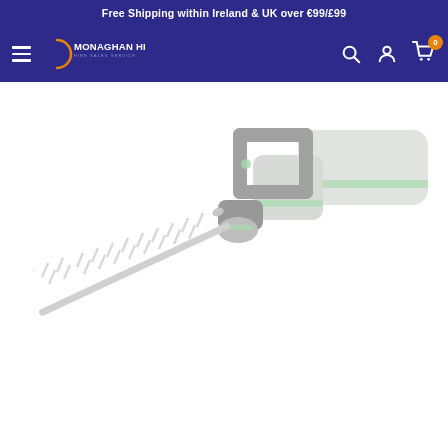Free Shipping within Ireland & UK over €99/£99
[Figure (logo): Monaghan Hire logo with hamburger menu, search, account, and cart icons on dark blue navigation bar]
[Figure (photo): EGO battery-powered hedge trimmer with long blade, shown at diagonal angle, in faded/light grey-green color scheme on white background]